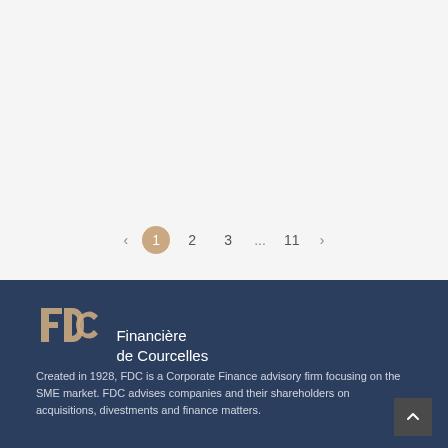[Figure (other): Pagination navigation with left arrow, page numbers 1 (active), 2, 3, ..., 11, and right arrow on a light grey background]
[Figure (logo): FDC Financière de Courcelles logo on dark navy background — stylized FDC lettermark in copper/bronze tones beside text 'Financière de Courcelles']
Created in 1928, FDC is a Corporate Finance advisory firm focusing on the SME market. FDC advises companies and their shareholders on acquisitions, divestments and finance matters.